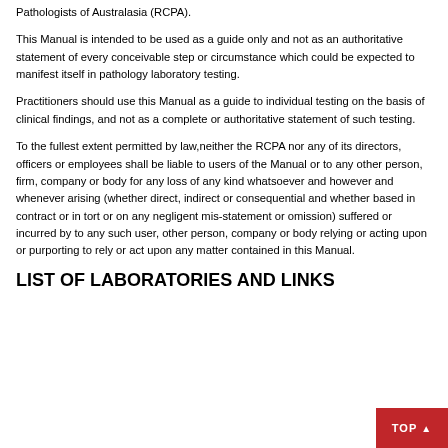Pathologists of Australasia (RCPA).
This Manual is intended to be used as a guide only and not as an authoritative statement of every conceivable step or circumstance which could be expected to manifest itself in pathology laboratory testing.
Practitioners should use this Manual as a guide to individual testing on the basis of clinical findings, and not as a complete or authoritative statement of such testing.
To the fullest extent permitted by law,neither the RCPA nor any of its directors, officers or employees shall be liable to users of the Manual or to any other person, firm, company or body for any loss of any kind whatsoever and however and whenever arising (whether direct, indirect or consequential and whether based in contract or in tort or on any negligent mis-statement or omission) suffered or incurred by to any such user, other person, company or body relying or acting upon or purporting to rely or act upon any matter contained in this Manual.
LIST OF LABORATORIES AND LINKS